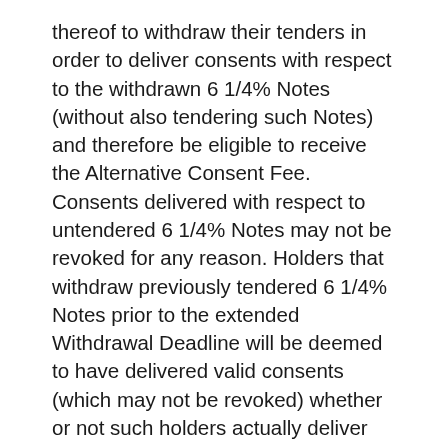thereof to withdraw their tenders in order to deliver consents with respect to the withdrawn 6 1/4% Notes (without also tendering such Notes) and therefore be eligible to receive the Alternative Consent Fee. Consents delivered with respect to untendered 6 1/4% Notes may not be revoked for any reason. Holders that withdraw previously tendered 6 1/4% Notes prior to the extended Withdrawal Deadline will be deemed to have delivered valid consents (which may not be revoked) whether or not such holders actually deliver consents by any of the methods specified in the Offer to Purchase and Consent Solicitation Statement pursuant to which the Consent Solicitation is being made. Tendered 6 1/2% Notes and consents delivered with respect to 6 1/2%